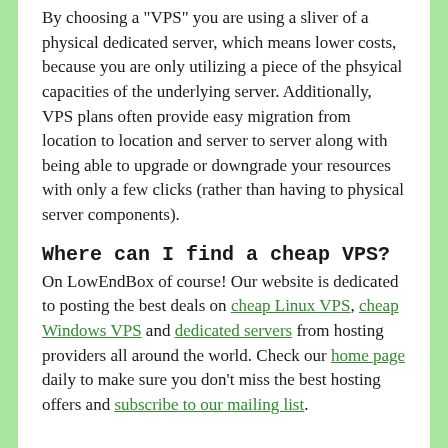By choosing a "VPS" you are using a sliver of a physical dedicated server, which means lower costs, because you are only utilizing a piece of the phsyical capacities of the underlying server. Additionally, VPS plans often provide easy migration from location to location and server to server along with being able to upgrade or downgrade your resources with only a few clicks (rather than having to physical server components).
Where can I find a cheap VPS?
On LowEndBox of course! Our website is dedicated to posting the best deals on cheap Linux VPS, cheap Windows VPS and dedicated servers from hosting providers all around the world. Check our home page daily to make sure you don't miss the best hosting offers and subscribe to our mailing list.